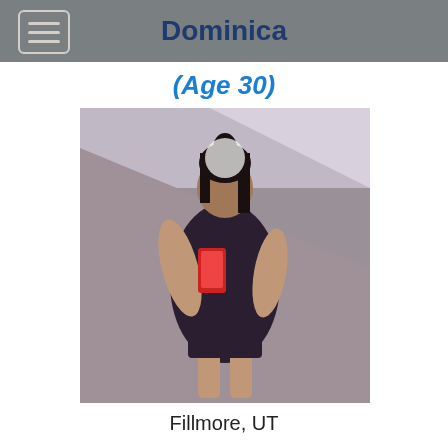Dominica
(Age 30)
[Figure (photo): A young woman taking a mirror selfie wearing a dark outfit, holding a red phone]
Fillmore, UT